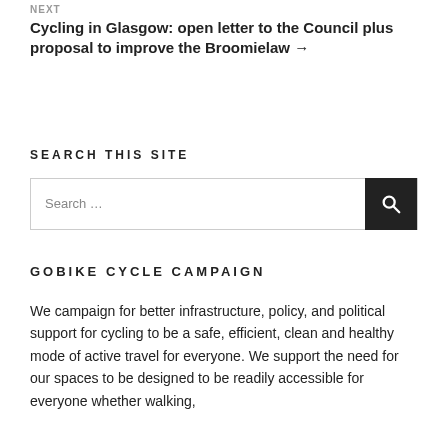NEXT
Cycling in Glasgow: open letter to the Council plus proposal to improve the Broomielaw →
SEARCH THIS SITE
Search …
GOBIKE CYCLE CAMPAIGN
We campaign for better infrastructure, policy, and political support for cycling to be a safe, efficient, clean and healthy mode of active travel for everyone. We support the need for our spaces to be designed to be readily accessible for everyone whether walking,